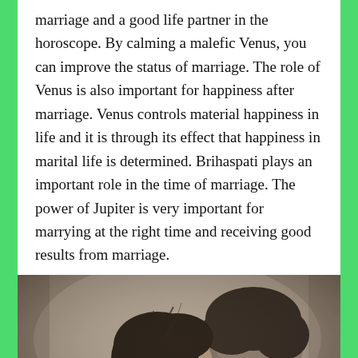marriage and a good life partner in the horoscope. By calming a malefic Venus, you can improve the status of marriage. The role of Venus is also important for happiness after marriage. Venus controls material happiness in life and it is through its effect that happiness in marital life is determined. Brihaspati plays an important role in the time of marriage. The power of Jupiter is very important for marrying at the right time and receiving good results from marriage.
[Figure (photo): Black and white close-up photograph of a couple, a woman leaning her head against the back/shoulder of a man, both seen from behind/side profile.]